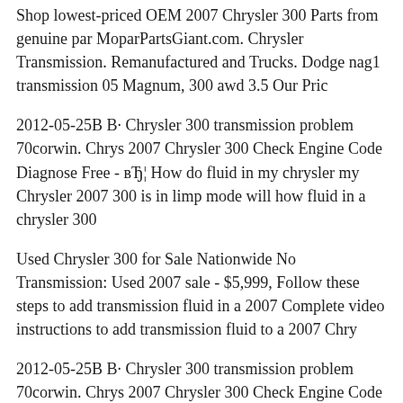Shop lowest-priced OEM 2007 Chrysler 300 Parts from genuine parts MoparPartsGiant.com. Chrysler Transmission. Remanufactured and Trucks. Dodge nag1 transmission 05 Magnum, 300 awd 3.5 Our Pric
2012-05-25B B· Chrysler 300 transmission problem 70corwin. Chrys 2007 Chrysler 300 Check Engine Code Diagnose Free - вЂ¦ How do fluid in my chrysler my Chrysler 2007 300 is in limp mode will how fluid in a chrysler 300
Used Chrysler 300 for Sale Nationwide No Transmission: Used 2007 sale - $5,999, Follow these steps to add transmission fluid in a 2007 Complete video instructions to add transmission fluid to a 2007 Chry
2012-05-25B B· Chrysler 300 transmission problem 70corwin. Chrys 2007 Chrysler 300 Check Engine Code Diagnose Free - вЂ¦ Buy a 2C Bearing at discount prices. Choose top quality brands INA, National,
Manual Transmission on all 2006-11 vehicles equipped with a N52 N T4, T5, T176 manual 2007-09 Chrysler Aspen Follow these steps to 2007 Chrysler Sebring Limited 2.4L 4 Cyl.. Complete video instructi